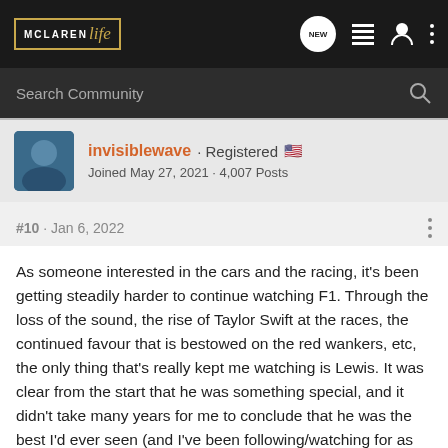McLaren Life · NEW · (nav icons)
Search Community
invisiblewave · Registered 🇺🇸 Joined May 27, 2021 · 4,007 Posts
#10 · Jan 6, 2022
As someone interested in the cars and the racing, it's been getting steadily harder to continue watching F1. Through the loss of the sound, the rise of Taylor Swift at the races, the continued favour that is bestowed on the red wankers, etc, the only thing that's really kept me watching is Lewis. It was clear from the start that he was something special, and it didn't take many years for me to conclude that he was the best I'd ever seen (and I've been following/watching for as long as I can remember). If he goes, it'll be hard for me to stay interested after this latest debacle, which confirms all my worst fears